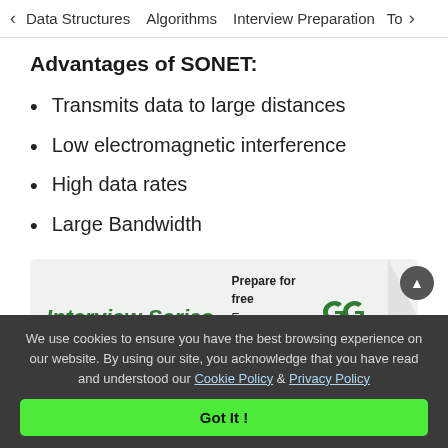< Data Structures   Algorithms   Interview Preparation   To>
Advantages of SONET:
Transmits data to large distances
Low electromagnetic interference
High data rates
Large Bandwidth
[Figure (infographic): Interview Series advertisement banner: 'Interview Series — Prepare for free. Every Sunday | 7–8:30 PM IST' with GeeksforGeeks logo]
We use cookies to ensure you have the best browsing experience on our website. By using our site, you acknowledge that you have read and understood our Cookie Policy & Privacy Policy
Got It !